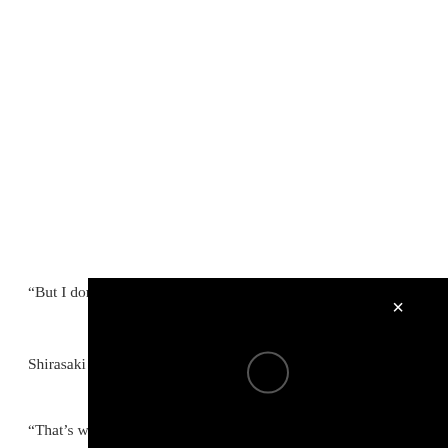“But I don’t want this feeling to disappear.”
Shirasaki Yuriko was speaking to San
“That’s why I’ll engrave this into my heart… this ‘curse